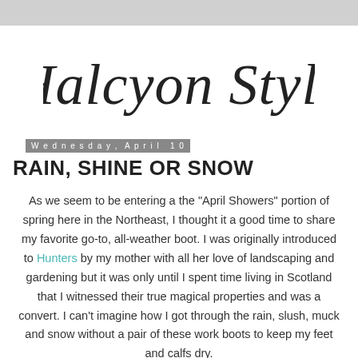Halcyon Style
Wednesday, April 10
RAIN, SHINE OR SNOW
As we seem to be entering a the "April Showers" portion of spring here in the Northeast, I thought it a good time to share my favorite go-to, all-weather boot. I was originally introduced to Hunters by my mother with all her love of landscaping and gardening but it was only until I spent time living in Scotland that I witnessed their true magical properties and was a convert. I can't imagine how I got through the rain, slush, muck and snow without a pair of these work boots to keep my feet and calfs dry.